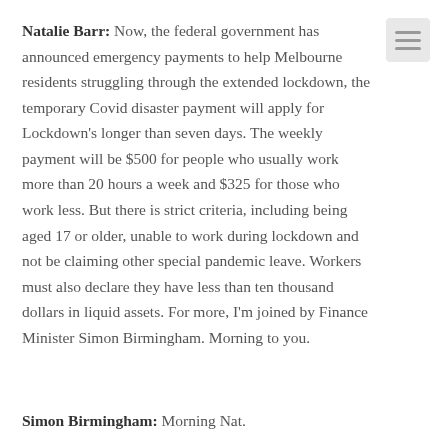Natalie Barr: Now, the federal government has announced emergency payments to help Melbourne residents struggling through the extended lockdown, the temporary Covid disaster payment will apply for Lockdown's longer than seven days. The weekly payment will be $500 for people who usually work more than 20 hours a week and $325 for those who work less. But there is strict criteria, including being aged 17 or older, unable to work during lockdown and not be claiming other special pandemic leave. Workers must also declare they have less than ten thousand dollars in liquid assets. For more, I'm joined by Finance Minister Simon Birmingham. Morning to you.
Simon Birmingham: Morning Nat.